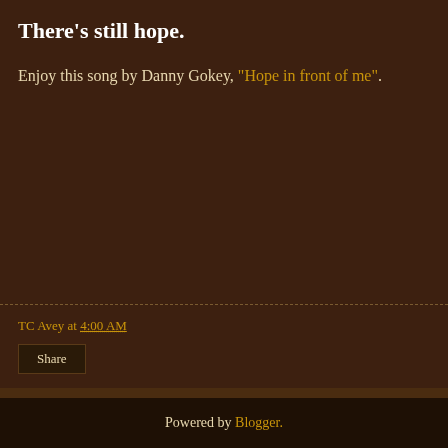There's still hope.
Enjoy this song by Danny Gokey, “Hope in front of me”.
TC Avey at 4:00 AM
Share
Home
View web version
Powered by Blogger.